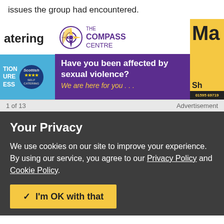issues the group had encountered.
[Figure (illustration): Advertisement banner strip showing three ads side by side: left ad partially visible showing 'atering' text and Scottish Tourism Board badge; center ad for The Compass Centre with purple background asking 'Have you been affected by sexual violence? We are here for you...'; right ad partially visible showing yellow background with 'Ma' and 'Sh' text fragments and phone number 01595 69719...]
1 of 13
Advertisement
Your Privacy
We use cookies on our site to improve your experience.
By using our service, you agree to our Privacy Policy and Cookie Policy.
I'm OK with that